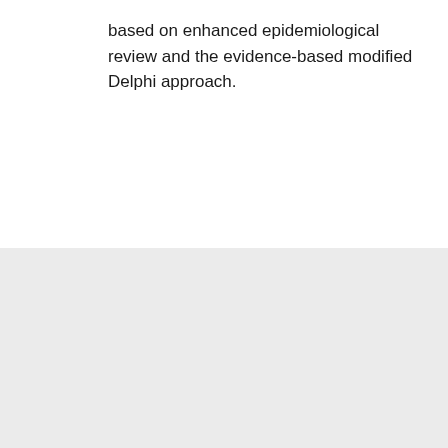based on enhanced epidemiological review and the evidence-based modified Delphi approach.
[Figure (illustration): Circular refresh/review icon with a checkmark inside, rendered in outline style on a light gray background with a white circular backdrop.]